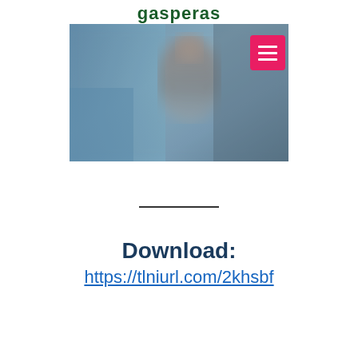gasperas
[Figure (photo): Blurred photo of a person, appears to show a hospital or indoor scene. A pink/red square menu button with three horizontal white lines (hamburger icon) is overlaid in the top-right corner of the image.]
___________
Download:
https://tlniurl.com/2khsbf